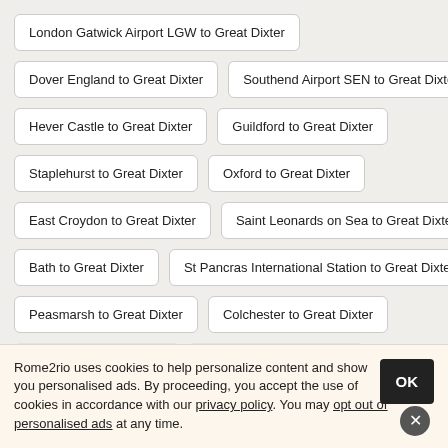London Gatwick Airport LGW to Great Dixter
Dover England to Great Dixter
Southend Airport SEN to Great Dixter
Hever Castle to Great Dixter
Guildford to Great Dixter
Staplehurst to Great Dixter
Oxford to Great Dixter
East Croydon to Great Dixter
Saint Leonards on Sea to Great Dixter
Bath to Great Dixter
St Pancras International Station to Great Dixter
Peasmarsh to Great Dixter
Colchester to Great Dixter
Rome2rio uses cookies to help personalize content and show you personalised ads. By proceeding, you accept the use of cookies in accordance with our privacy policy. You may opt out of personalised ads at any time.